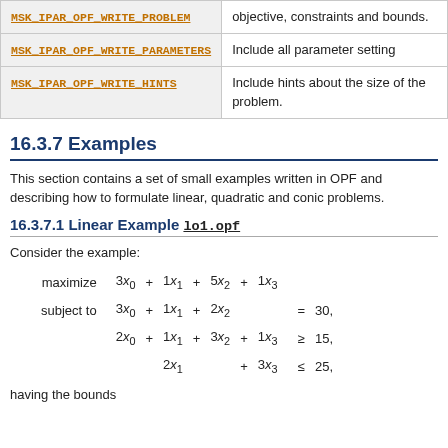| Parameter | Description |
| --- | --- |
| MSK_IPAR_OPF_WRITE_PROBLEM | objective, constraints and bounds. |
| MSK_IPAR_OPF_WRITE_PARAMETERS | Include all parameter setting |
| MSK_IPAR_OPF_WRITE_HINTS | Include hints about the size of the problem. |
16.3.7 Examples
This section contains a set of small examples written in OPF and describing how to formulate linear, quadratic and conic problems.
16.3.7.1 Linear Example lo1.opf
Consider the example:
having the bounds